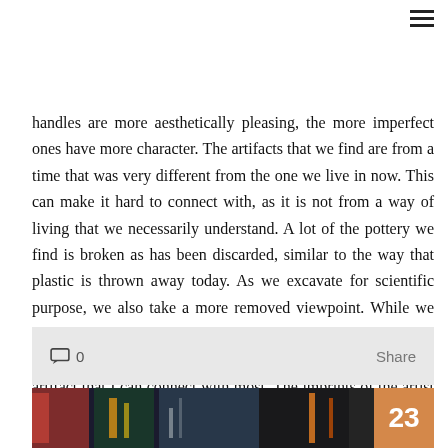handles are more aesthetically pleasing, the more imperfect ones have more character. The artifacts that we find are from a time that was very different from the one we live in now. This can make it hard to connect with, as it is not from a way of living that we necessarily understand. A lot of the pottery we find is broken as has been discarded, similar to the way that plastic is thrown away today. As we excavate for scientific purpose, we also take a more removed viewpoint. While we find lots of different artifacts on the tel that can be hard to connect with, I think that the more imperfect pottery is the artifact that I can connect with most. The imprints of the artist hands allow me to imagine just who made the artifacts that we excavate and wash.
0   Share
[Figure (photo): Bottom strip showing a dark photo with colorful elements on the left and an orange/tan badge with the number 23 on the right.]